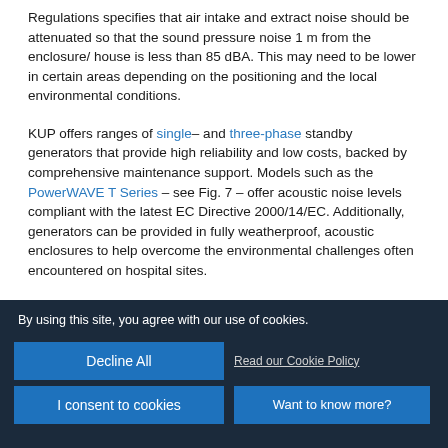Regulations specifies that air intake and extract noise should be attenuated so that the sound pressure noise 1 m from the enclosure/ house is less than 85 dBA. This may need to be lower in certain areas depending on the positioning and the local environmental conditions.
KUP offers ranges of single– and three-phase standby generators that provide high reliability and low costs, backed by comprehensive maintenance support. Models such as the PowerWAVE T Series – see Fig. 7 – offer acoustic noise levels compliant with the latest EC Directive 2000/14/EC. Additionally, generators can be provided in fully weatherproof, acoustic enclosures to help overcome the environmental challenges often encountered on hospital sites.
By using this site, you agree with our use of cookies.
Decline All
Read our Cookie Policy
I consent to cookies
Want to know more?